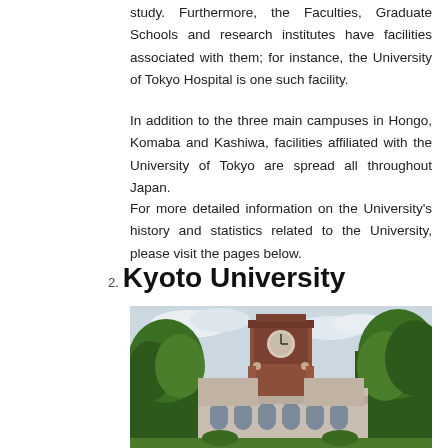study. Furthermore, the Faculties, Graduate Schools and research institutes have facilities associated with them; for instance, the University of Tokyo Hospital is one such facility.
In addition to the three main campuses in Hongo, Komaba and Kashiwa, facilities affiliated with the University of Tokyo are spread all throughout Japan.
For more detailed information on the University's history and statistics related to the University, please visit the pages below.
2. Kyoto University
[Figure (photo): Photograph of Kyoto University's main building (Clock Tower / Centennial Hall), a brick Art Deco structure with a prominent clock tower, flanked by tall green trees under a partly cloudy sky.]